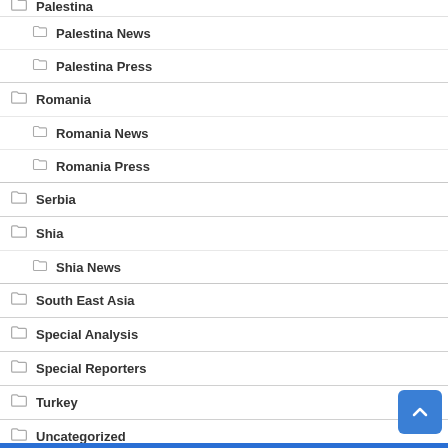Palestina
Palestina News
Palestina Press
Romania
Romania News
Romania Press
Serbia
Shia
Shia News
South East Asia
Special Analysis
Special Reporters
Turkey
Uncategorized